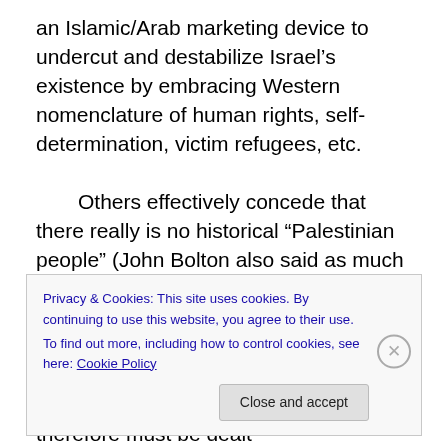an Islamic/Arab marketing device to undercut and destabilize Israel’s existence by embracing Western nomenclature of human rights, self-determination, victim refugees, etc.

    Others effectively concede that there really is no historical “Palestinian people” (John Bolton also said as much the other day), but the political reality today is that they “exist” in the media, in the diplomatic chambers, in the UN, and in the land of Israel – so they exist today even if they never existed before, and therefore must be dealt
Privacy & Cookies: This site uses cookies. By continuing to use this website, you agree to their use.
To find out more, including how to control cookies, see here: Cookie Policy